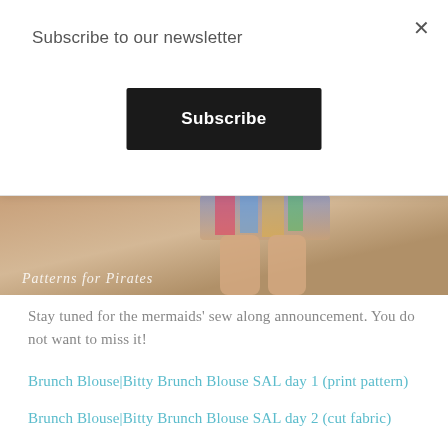Subscribe to our newsletter
Subscribe
[Figure (photo): Partial photo of a person's legs wearing a colorful skirt/shorts, with text overlay reading 'Patterns for Pirates']
Stay tuned for the mermaids' sew along announcement. You do not want to miss it!
Brunch Blouse|Bitty Brunch Blouse SAL day 1 (print pattern)
Brunch Blouse|Bitty Brunch Blouse SAL day 2 (cut fabric)